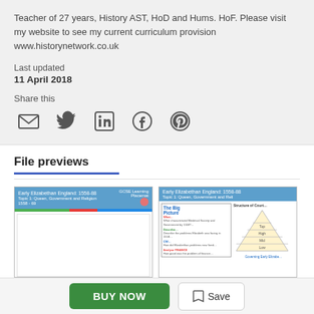Teacher of 27 years, History AST, HoD and Hums. HoF. Please visit my website to see my current curriculum provision www.historynetwork.co.uk
Last updated
11 April 2018
Share this
[Figure (infographic): Share icons: email, Twitter, LinkedIn, Facebook, Pinterest]
File previews
[Figure (screenshot): File preview thumbnail 1: Early Elizabethan England: 1558-88, Topic 1: Queen, Government and Religion 1558-69, GCSE Learning Placemat]
[Figure (screenshot): File preview thumbnail 2: Early Elizabethan England: 1558-88, Topic 1: Queen, Government and Religion - with Big Picture and pyramid diagram]